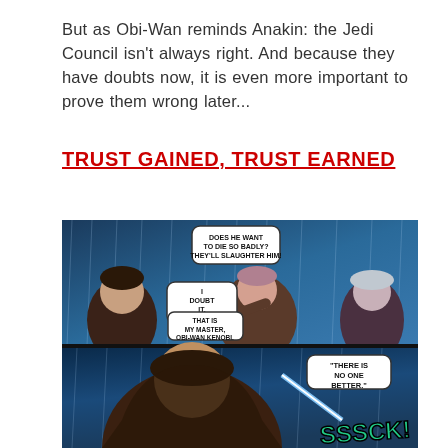But as Obi-Wan reminds Anakin: the Jedi Council isn't always right. And because they have doubts now, it is even more important to prove them wrong later...
TRUST GAINED, TRUST EARNED
[Figure (illustration): Comic book panels showing characters in a rainy scene. Top panel: three characters in discussion with speech bubbles reading 'DOES HE WANT TO DIE SO BADLY? THEY'LL SLAUGHTER HIM!', 'I DOUBT IT. THAT IS MY MASTER. OBI-WAN KENOBI.' Bottom panel: close-up of a cloaked figure with lightsaber action, speech bubble reading 'THERE IS NO ONE BETTER.' Sound effect 'SSSCK!' in green lettering.]